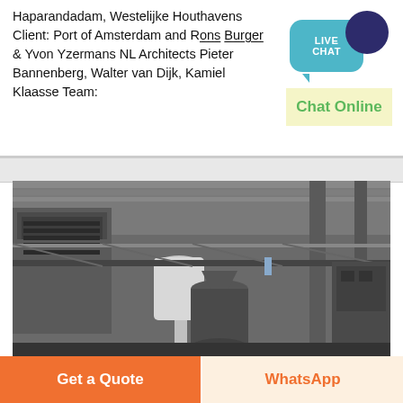Haparandadam, Westelijke Houthavens Client: Port of Amsterdam and Rons Burger & Yvon Yzermans NL Architects Pieter Bannenberg, Walter van Dijk, Kamiel Klaasse Team:
[Figure (infographic): Live Chat widget with teal speech bubble and dark navy circle, with 'Chat Online' text on yellow-tinted background]
[Figure (photo): Industrial interior photograph showing steel machinery, silos, pipes and structural framework inside a large warehouse or factory]
Get a Quote
WhatsApp